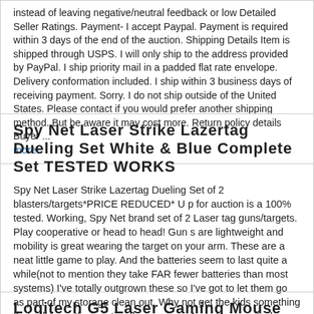instead of leaving negative/neutral feedback or low Detailed Seller Ratings. Payment- I accept Paypal. Payment is required within 3 days of the end of the auction. Shipping Details Item is shipped through USPS. I will only ship to the address provided by PayPal. I ship priority mail in a padded flat rate envelope. Delivery conformation included. I ship within 3 business days of receiving payment. Sorry. I do not ship outside of the United States. Please contact if you would prefer another shipping method. But be aware it may cost more. Return policy details Buyer ... more
Spy Net Laser Strike Lazertag Dueling Set White & Blue Complete Set TESTED WORKS
Spy Net Laser Strike Lazertag Dueling Set of 2 blasters/targets*PRICE REDUCED* U p for auction is a 100% tested. Working, Spy Net brand set of 2 Laser tag guns/targets. Play cooperative or head to head! Gun s are lightweight and mobility is great wearing the target on your arm. These are a neat little game to play. And the batteries seem to last quite a while(not to mention they take FAR fewer batteries than most systems) I've totally outgrown these so I've got to let them go as part of my storage clean out. Why not get the kids something that will keep them active this summer. And playing outside instead of plonking them in front of an xbox! I hope these go to someone who will enjoy them as much as I did. Check out my other auctions for more cool stuff from my storage! I accept PayPal only. Payment must be made within 24 hours of ... more
Logitech G5 Laser Gaming Mouse Blue